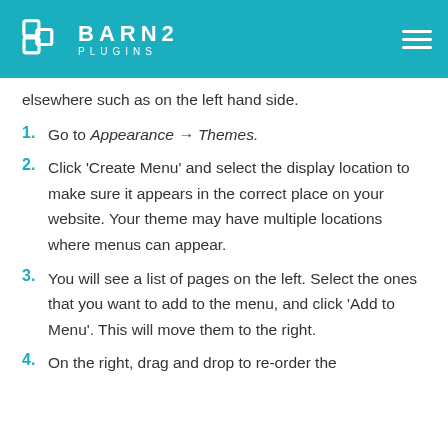BARN2 PLUGINS
elsewhere such as on the left hand side.
1. Go to Appearance → Themes.
2. Click 'Create Menu' and select the display location to make sure it appears in the correct place on your website. Your theme may have multiple locations where menus can appear.
3. You will see a list of pages on the left. Select the ones that you want to add to the menu, and click 'Add to Menu'. This will move them to the right.
4. On the right, drag and drop to re-order the